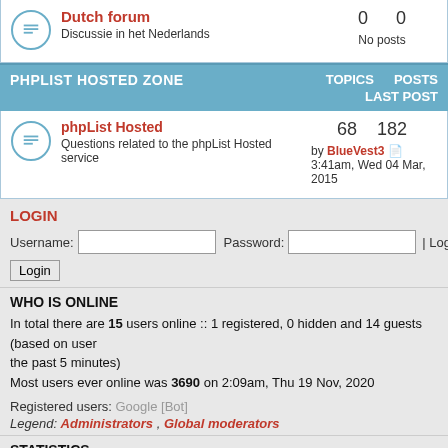Dutch forum
Discussie in het Nederlands
0   0
No posts
PHPLIST HOSTED ZONE   TOPICS  POSTS  LAST POST
phpList Hosted
Questions related to the phpList Hosted service
68   182
by BlueVest3 3:41am, Wed 04 Mar, 2015
LOGIN
Username:  [input]  Password:  [input]  | Log me on automatically e
Login [button]
WHO IS ONLINE
In total there are 15 users online :: 1 registered, 0 hidden and 14 guests (based on users active over the past 5 minutes)
Most users ever online was 3690 on 2:09am, Thu 19 Nov, 2020
Registered users: Google [Bot]
Legend: Administrators , Global moderators
STATISTICS